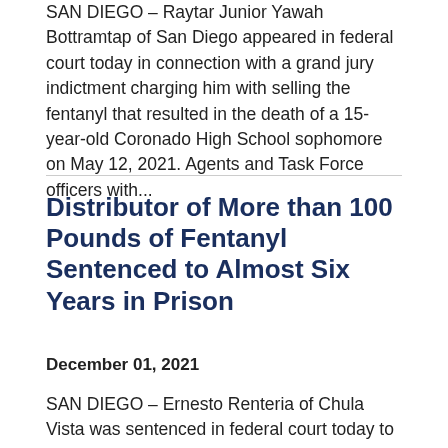SAN DIEGO – Raytar Junior Yawah Bottramtap of San Diego appeared in federal court today in connection with a grand jury indictment charging him with selling the fentanyl that resulted in the death of a 15-year-old Coronado High School sophomore on May 12, 2021. Agents and Task Force officers with...
Distributor of More than 100 Pounds of Fentanyl Sentenced to Almost Six Years in Prison
December 01, 2021
SAN DIEGO – Ernesto Renteria of Chula Vista was sentenced in federal court today to 71 months in custody for distributing more than 100 pounds of deadly fentanyl plus fentanyl analogues, cocaine and